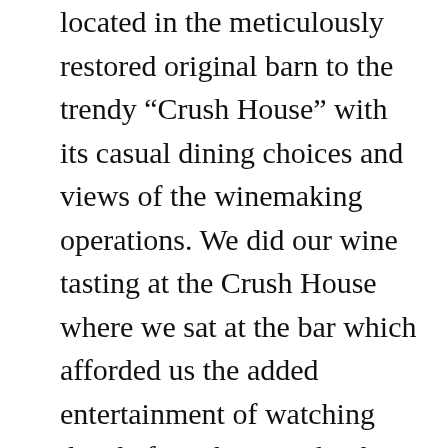located in the meticulously restored original barn to the trendy “Crush House” with its casual dining choices and views of the winemaking operations. We did our wine tasting at the Crush House where we sat at the bar which afforded us the added entertainment of watching the chefs in the open kitchen work their magic. The small plates we ordered to accompany our flights were excellent.